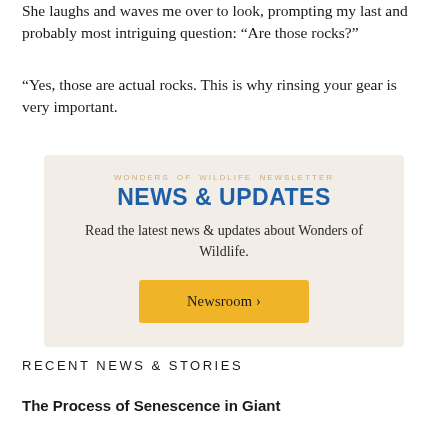She laughs and waves me over to look, prompting my last and probably most intriguing question: “Are those rocks?”
“Yes, those are actual rocks. This is why rinsing your gear is very important.
NEWS & UPDATES
Read the latest news & updates about Wonders of Wildlife.
Newsroom ›
RECENT NEWS & STORIES
The Process of Senescence in Giant